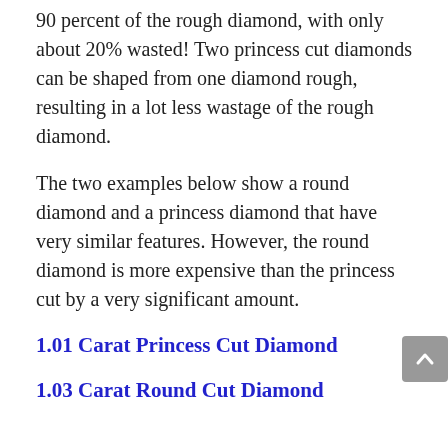90 percent of the rough diamond, with only about 20% wasted! Two princess cut diamonds can be shaped from one diamond rough, resulting in a lot less wastage of the rough diamond.
The two examples below show a round diamond and a princess diamond that have very similar features. However, the round diamond is more expensive than the princess cut by a very significant amount.
1.01 Carat Princess Cut Diamond
1.03 Carat Round Cut Diamond